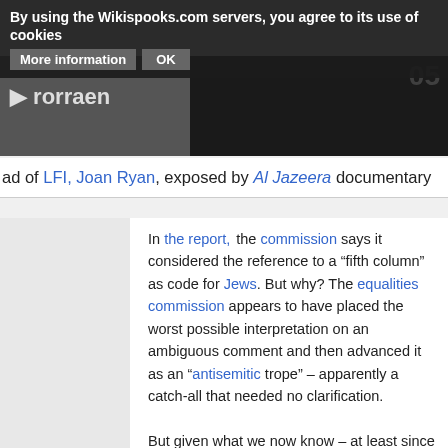By using the Wikispooks.com servers, you agree to its use of cookies   More information   OK
[Figure (screenshot): Video thumbnail area, partially dark/black with a logo partially visible in top right]
ad of LFI, Joan Ryan, exposed by Al Jazeera documentary
In the report, the commission says it considered the reference to a “fifth column” as code for Jews. But why? The equalities commission appears to have placed the worst possible interpretation on an ambiguous comment and then advanced it as an “antisemitic trope” – apparently a catch-all that needed no clarification.

But given what we now know – at least since the leaking of the